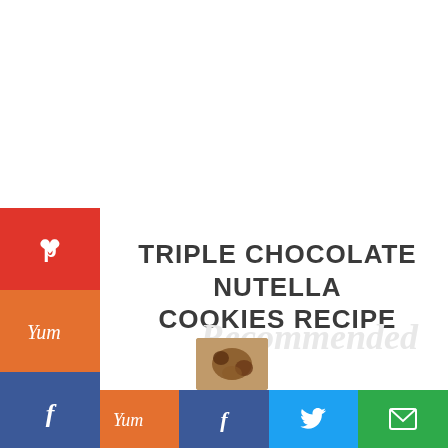[Figure (infographic): Vertical social sharing sidebar with Pinterest (red), Yummly (orange), Facebook (dark blue), Twitter (light blue), Save/heart (grey), and Share (circle) buttons]
TRIPLE CHOCOLATE NUTELLA COOKIES RECIPE
Recommended
WHAT'S NEXT → Chocolate Peppermint...
[Figure (photo): Thumbnail image of chocolate peppermint cookies]
[Figure (infographic): Bottom share bar with Pinterest, Yummly, Facebook, Twitter, and Email buttons]